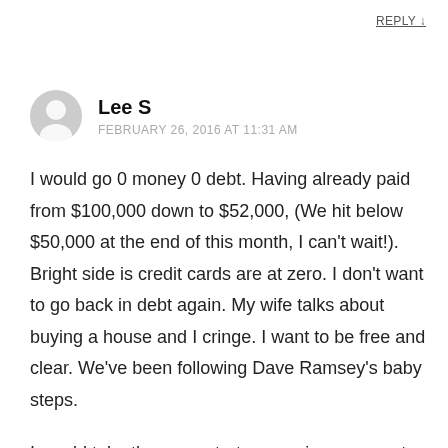REPLY ↓
Lee S
FEBRUARY 26, 2016 AT 11:31 AM
I would go 0 money 0 debt. Having already paid from $100,000 down to $52,000, (We hit below $50,000 at the end of this month, I can't wait!). Bright side is credit cards are at zero. I don't want to go back in debt again. My wife talks about buying a house and I cringe. I want to be free and clear. We've been following Dave Ramsey's baby steps.
I would take the zero, start our savings account again and earn my 6-9 month savings goal. Re...